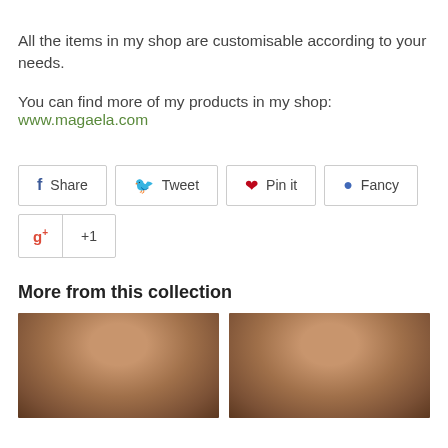All the items in my shop are customisable according to your needs.
You can find more of my products in my shop:
www.magaela.com
[Figure (other): Social sharing buttons row: Share (Facebook), Tweet (Twitter), Pin it (Pinterest), Fancy; and a Google+1 button below]
More from this collection
[Figure (photo): Two product photos showing hair accessories/buns on models with brown hair, side by side]